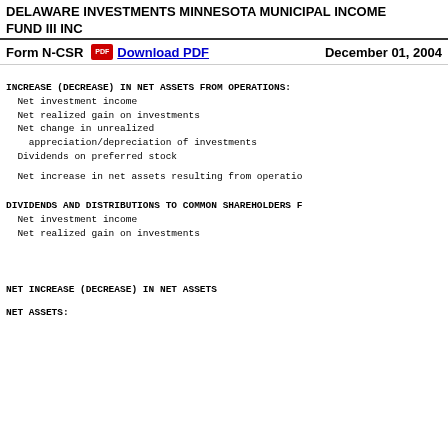DELAWARE INVESTMENTS MINNESOTA MUNICIPAL INCOME
FUND III INC
Form N-CSR   Download PDF   December 01, 2004
INCREASE (DECREASE) IN NET ASSETS FROM OPERATIONS:
  Net investment income
  Net realized gain on investments
  Net change in unrealized
    appreciation/depreciation of investments
  Dividends on preferred stock

  Net increase in net assets resulting from operations
DIVIDENDS AND DISTRIBUTIONS TO COMMON SHAREHOLDERS F
  Net investment income
  Net realized gain on investments
NET INCREASE (DECREASE) IN NET ASSETS
NET ASSETS: